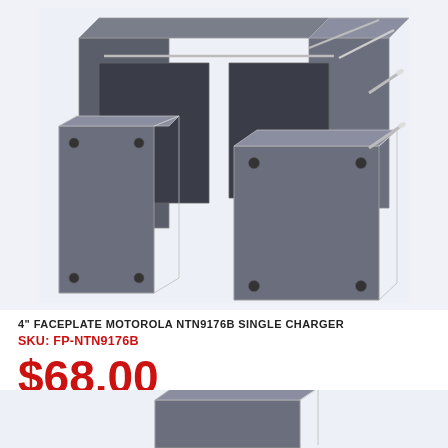[Figure (schematic): 3D CAD schematic illustration of a 4-inch faceplate rack mount bracket for Motorola NTN9176B single charger, shown in gray with mounting holes and guide pins, isometric view against light blue-gray background]
4" FACEPLATE MOTOROLA NTN9176B SINGLE CHARGER
SKU: FP-NTN9176B
$68.00
[Figure (schematic): Partial view of another product faceplate schematic at the bottom of the page, cropped]